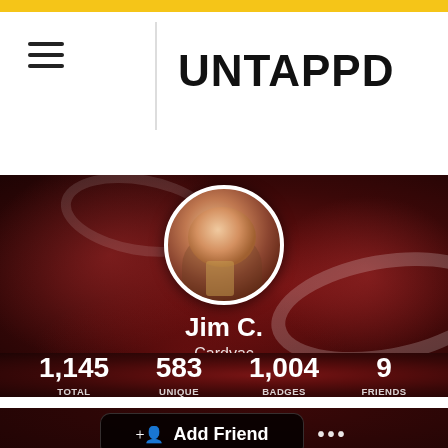UNTAPPD
[Figure (screenshot): Untappd user profile page for Jim C. (Cardyac) showing profile photo, stats (1,145 Total, 583 Unique, 1,004 Badges, 9 Friends), and Add Friend button on a blurred dark red background]
Jim C.
Cardyac
1,145 TOTAL  583 UNIQUE  1,004 BADGES  9 FRIENDS
Add Friend